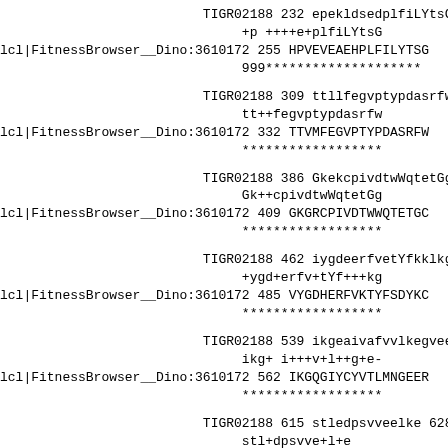TIGR02188 232 epekldsedplfiLYtsG
             +p ++++e+plfiLYtsG
lcl|FitnessBrowser__Dino:3610172 255 HPVEVEAEHPLFILYTSG
             999********************
TIGR02188 309 ttllfegvptypdasrfw
             tt++fegvptypdasrfw
lcl|FitnessBrowser__Dino:3610172 332 TTVMFEGVPTYPDASRFW
             ******************
TIGR02188 386 GkekcpivdtwWqtetGg
             Gk++cpivdtwWqtetGg
lcl|FitnessBrowser__Dino:3610172 409 GKGRCPIVDTWWQTETGC
             ******************
TIGR02188 462 iygdeerfvetYfkklkg
             +ygd+erfv+tYf+++kg
lcl|FitnessBrowser__Dino:3610172 485 VYGDHERFVKTYFSDYKC
             ******************
TIGR02188 539 ikgeaivafvvlkegvee
             ikg+ i+++v+l++g+e-
lcl|FitnessBrowser__Dino:3610172 562 IKGQGIYCYVTLMNGEER
             ******************
TIGR02188 615 stledpsvveelke 628
             stl+dpsvve+l+e
lcl|FitnessBrowser__Dino:3610172 638 STLADPSVVEDLIE 651
             *********9987 PP